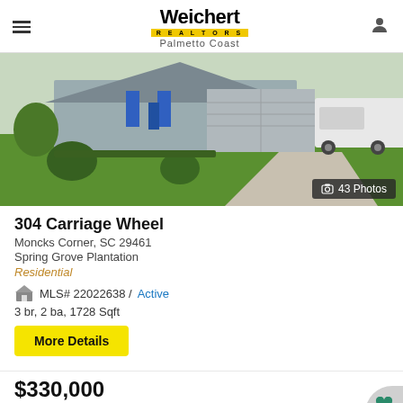Weichert REALTORS Palmetto Coast
[Figure (photo): Exterior photo of a single-story residential home with gray siding, blue door, two-car garage, green lawn, and a white pickup truck in the driveway. Badge shows 43 Photos.]
304 Carriage Wheel
Moncks Corner, SC 29461
Spring Grove Plantation
Residential
MLS# 22022638 / Active
3 br, 2 ba, 1728 Sqft
More Details
$330,000
Provided courtesy of Jeff Cook Real Estate LLC